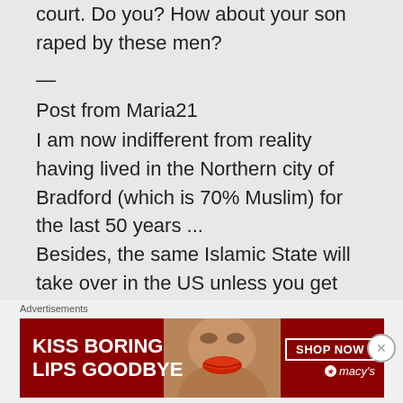court. Do you? How about your son raped by these men?
—
Post from Maria21
I am now indifferent from reality having lived in the Northern city of Bradford (which is 70% Muslim) for the last 50 years ... Besides, the same Islamic State will take over in the US unless you get rid of that idiot Obama and elect Trump.
Advertisements
[Figure (infographic): Macy's lipstick advertisement banner: red background with woman's face and lips, text 'KISS BORING LIPS GOODBYE', 'SHOP NOW' button, and Macy's star logo]